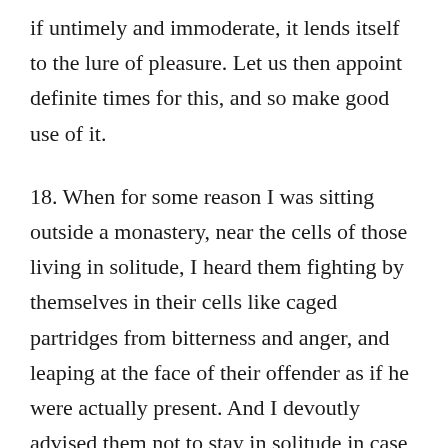if untimely and immoderate, it lends itself to the lure of pleasure. Let us then appoint definite times for this, and so make good use of it.
18. When for some reason I was sitting outside a monastery, near the cells of those living in solitude, I heard them fighting by themselves in their cells like caged partridges from bitterness and anger, and leaping at the face of their offender as if he were actually present. And I devoutly advised them not to stay in solitude in case they should be changed from human beings into demons. And I have also observed that people who are sensual and corrupt in heart are